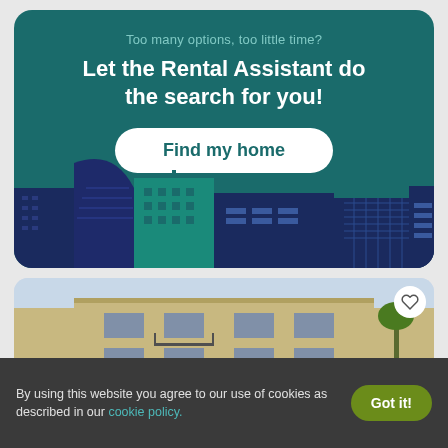[Figure (illustration): Rental assistant promotional card with teal background, city skyline illustration, and 'Find my home' button]
Too many options, too little time?
Let the Rental Assistant do the search for you!
Find my home
[Figure (photo): Exterior photo of a beige apartment building with balconies and a heart/favorite icon button]
By using this website you agree to our use of cookies as described in our cookie policy.
Got it!